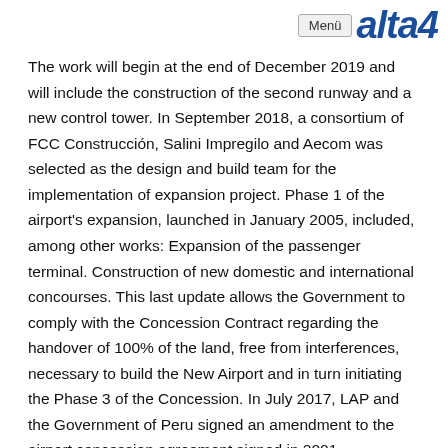Menü alta4
The work will begin at the end of December 2019 and will include the construction of the second runway and a new control tower. In September 2018, a consortium of FCC Construcción, Salini Impregilo and Aecom was selected as the design and build team for the implementation of expansion project. Phase 1 of the airport's expansion, launched in January 2005, included, among other works: Expansion of the passenger terminal. Construction of new domestic and international concourses. This last update allows the Government to comply with the Concession Contract regarding the handover of 100% of the land, free from interferences, necessary to build the New Airport and in turn initiating the Phase 3 of the Concession. In July 2017, LAP and the Government of Peru signed an amendment to the airport concession agreement signed in 2001. Installation of seven passenger loading bridges (PLBs). Expansion of the Central Concourse by 5,301 m2. The expansion of the Airport includes the construction of the second runway, greater number of parking spaces for aircraft, taxiways, a new passenger terminal, a